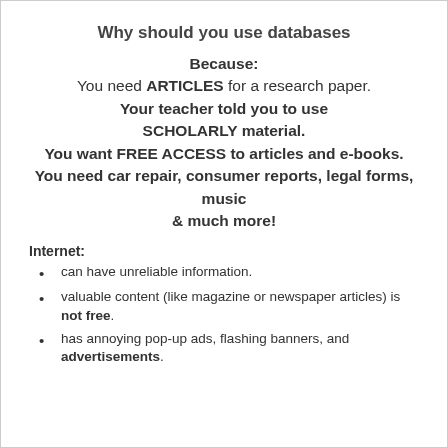Why should you use databases
Because:
You need ARTICLES for a research paper.
Your teacher told you to use SCHOLARLY material.
You want FREE ACCESS to articles and e-books.
You need car repair, consumer reports, legal forms, music
& much more!
Internet:
can have unreliable information.
valuable content (like magazine or newspaper articles) is not free.
has annoying pop-up ads, flashing banners, and advertisements.